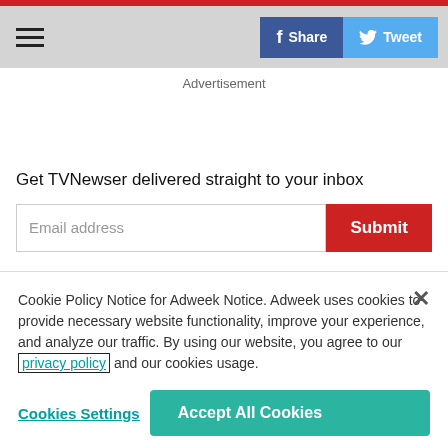≡  Share  Tweet
Advertisement
Get TVNewser delivered straight to your inbox
Email address
Submit
To send TVNewser senior editor A.J
Cookie Policy Notice for Adweek Notice. Adweek uses cookies to provide necessary website functionality, improve your experience, and analyze our traffic. By using our website, you agree to our privacy policy and our cookies usage.
Cookies Settings
Accept All Cookies